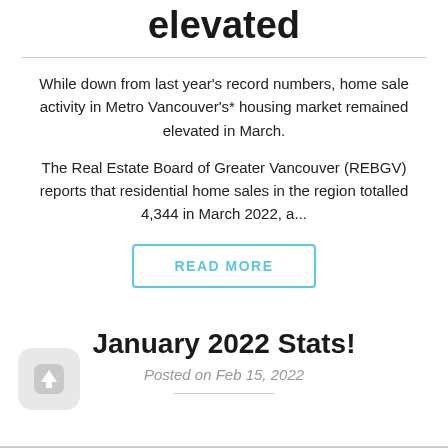elevated
While down from last year's record numbers, home sale activity in Metro Vancouver's* housing market remained elevated in March.
The Real Estate Board of Greater Vancouver (REBGV) reports that residential home sales in the region totalled 4,344 in March 2022, a...
READ MORE
January 2022 Stats!
Posted on Feb 15, 2022